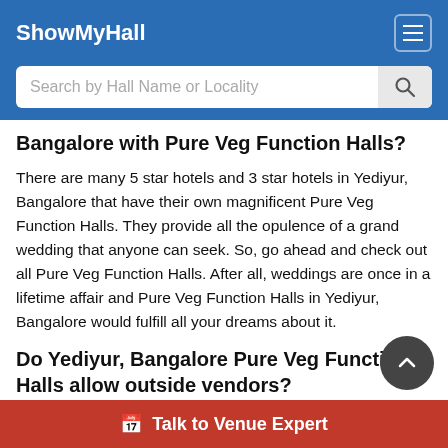ShowMyHall
Search by Hall Name or Locality
Bangalore with Pure Veg Function Halls?
There are many 5 star hotels and 3 star hotels in Yediyur, Bangalore that have their own magnificent Pure Veg Function Halls. They provide all the opulence of a grand wedding that anyone can seek. So, go ahead and check out all Pure Veg Function Halls. After all, weddings are once in a lifetime affair and Pure Veg Function Halls in Yediyur, Bangalore would fulfill all your dreams about it.
Do Yediyur, Bangalore Pure Veg Function Halls allow outside vendors?
Well, some Pure Veg Function Halls allow certain vendors while restricting others. Most Pure Veg Function Halls have their panel of vendors of each type like decorators, ca... etc. and they let you choose any one from that list. Ba...
Talk to Venue Expert